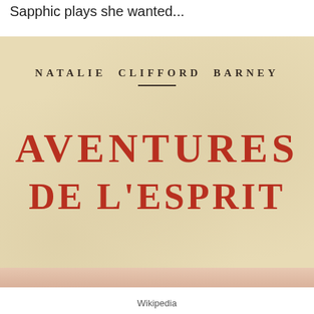Sapphic plays she wanted...
[Figure (photo): Book cover of 'Aventures de l'Esprit' by Natalie Clifford Barney. Aged cream/beige paper background with author name in small bold spaced uppercase letters at top, a short horizontal rule beneath, and the title 'AVENTURES DE L'ESPRIT' in large bold red uppercase letters centered on the cover. A pink/salmon strip appears at the bottom edge.]
Wikipedia